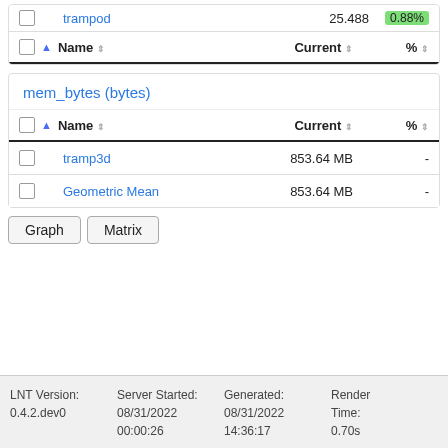|  |  | Name | Current | % |
| --- | --- | --- | --- | --- |
|  | ▲ | trampod | 25.488 | 0.88% |
mem_bytes (bytes)
|  |  | Name | Current | % |
| --- | --- | --- | --- | --- |
|  |  | tramp3d | 853.64 MB | - |
|  |  | Geometric Mean | 853.64 MB | - |
Graph   Matrix
LNT Version: 0.4.2.dev0   Server Started: 08/31/2022 00:00:26   Generated: 08/31/2022 14:36:17   Render Time: 0.70s